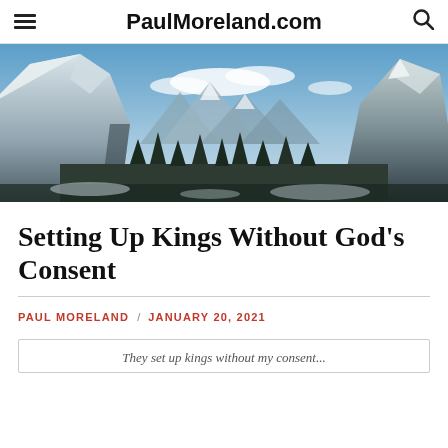PaulMoreland.com
[Figure (photo): Panoramic mountain landscape with snow-covered peaks, a valley with conifer trees, and blue sky with clouds]
Setting Up Kings Without God's Consent
PAUL MORELAND / JANUARY 20, 2021
They set up kings without my consent...